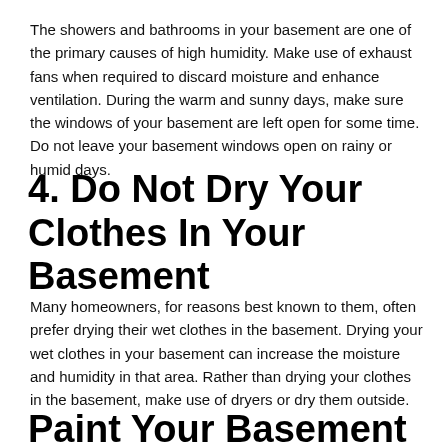The showers and bathrooms in your basement are one of the primary causes of high humidity. Make use of exhaust fans when required to discard moisture and enhance ventilation. During the warm and sunny days, make sure the windows of your basement are left open for some time. Do not leave your basement windows open on rainy or humid days.
4. Do Not Dry Your Clothes In Your Basement
Many homeowners, for reasons best known to them, often prefer drying their wet clothes in the basement. Drying your wet clothes in your basement can increase the moisture and humidity in that area. Rather than drying your clothes in the basement, make use of dryers or dry them outside.
Paint Your Basement Walls